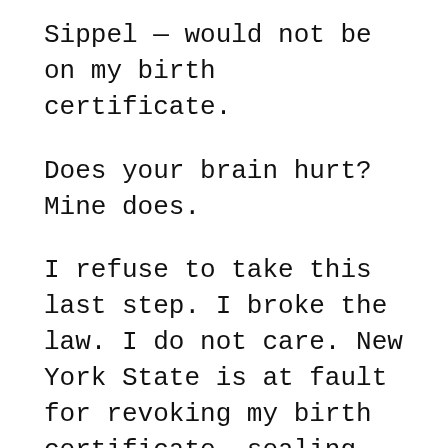Sippel — would not be on my birth certificate.
Does your brain hurt? Mine does.
I refuse to take this last step. I broke the law. I do not care. New York State is at fault for revoking my birth certificate, sealing it, and replacing it in 1957.
Three remedies are possible.